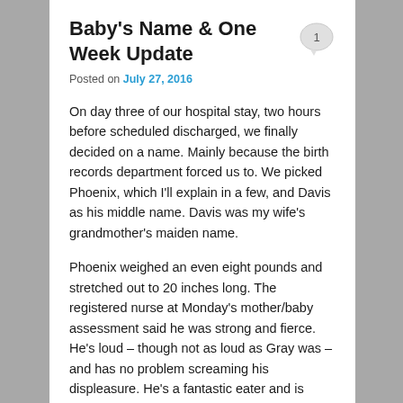Baby's Name & One Week Update
Posted on July 27, 2016
On day three of our hospital stay, two hours before scheduled discharged, we finally decided on a name. Mainly because the birth records department forced us to. We picked Phoenix, which I'll explain in a few, and Davis as his middle name. Davis was my wife's grandmother's maiden name.
Phoenix weighed an even eight pounds and stretched out to 20 inches long. The registered nurse at Monday's mother/baby assessment said he was strong and fierce. He's loud – though not as loud as Gray was – and has no problem screaming his displeasure. He's a fantastic eater and is peeing and pooping right on schedule.